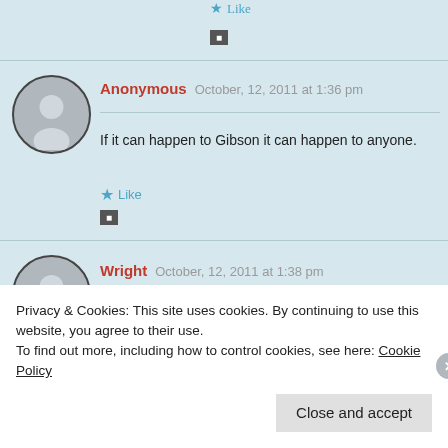★ Like
■
Anonymous  October, 12, 2011 at 1:36 pm
If it can happen to Gibson it can happen to anyone.
★ Like
■
Wright  October, 12, 2011 at 1:38 pm
Privacy & Cookies: This site uses cookies. By continuing to use this website, you agree to their use.
To find out more, including how to control cookies, see here: Cookie Policy
Close and accept